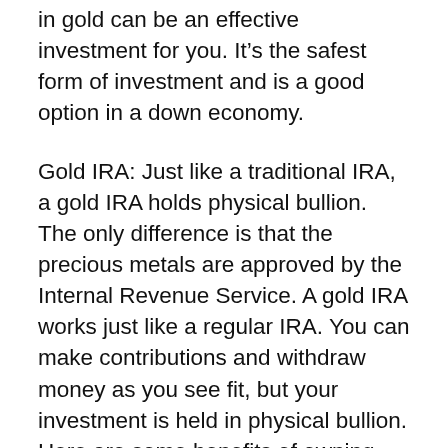in gold can be an effective investment for you. It's the safest form of investment and is a good option in a down economy.
Gold IRA: Just like a traditional IRA, a gold IRA holds physical bullion. The only difference is that the precious metals are approved by the Internal Revenue Service. A gold IRA works just like a regular IRA. You can make contributions and withdraw money as you see fit, but your investment is held in physical bullion. Here are some benefits of owning gold as part of an IRA.
First, the price of gold is very liquid. While other types of IRAs can be liquidated, gold is not. It is difficult to find cash for required minimum distributions. The best way to get...